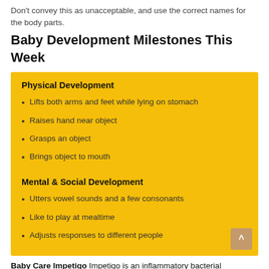Don't convey this as unacceptable, and use the correct names for the body parts.
Baby Development Milestones This Week
Physical Development
Lifts both arms and feet while lying on stomach
Raises hand near object
Grasps an object
Brings object to mouth
Mental & Social Development
Utters vowel sounds and a few consonants
Like to play at mealtime
Adjusts responses to different people
Baby Care Impetigo Impetigo is an inflammatory bacterial